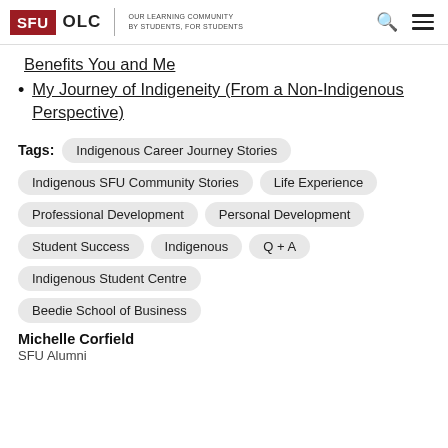SFU OLC | OUR LEARNING COMMUNITY BY STUDENTS, FOR STUDENTS
Benefits You and Me
My Journey of Indigeneity (From a Non-Indigenous Perspective)
Tags: Indigenous Career Journey Stories | Indigenous SFU Community Stories | Life Experience | Professional Development | Personal Development | Student Success | Indigenous | Q + A | Indigenous Student Centre | Beedie School of Business
Michelle Corfield
SFU Alumni